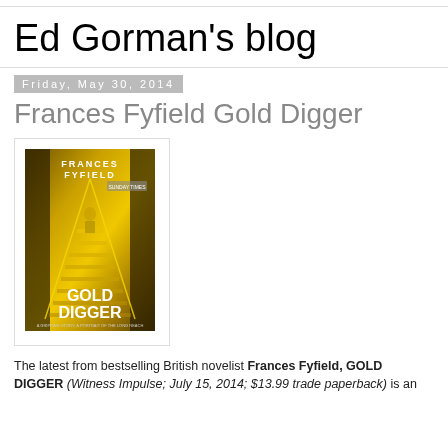Ed Gorman's blog
Friday, May 30, 2014
Frances Fyfield Gold Digger
[Figure (photo): Book cover of Gold Digger by Frances Fyfield, showing a golden staircase with dramatic lighting. Published by Witness Impulse.]
The latest from bestselling British novelist Frances Fyfield, GOLD DIGGER (Witness Impulse; July 15, 2014; $13.99 trade paperback) is an